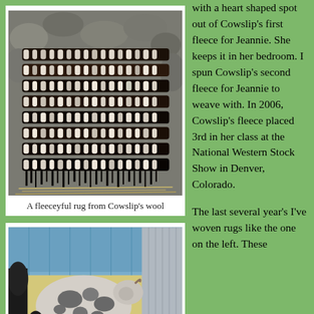[Figure (photo): Close-up photo of a woven rug made from Cowslip's wool, showing dark and light fiber patterns against stone background]
A fleeceyful rug from Cowslip's wool
[Figure (photo): Photo of a spotted sheep (Cowslip) with a white lamb in a barn/greenhouse setting with blue tarps and metal walls]
with a heart shaped spot out of Cowslip's first fleece for Jeannie. She keeps it in her bedroom. I spun Cowslip's second fleece for Jeannie to weave with. In 2006, Cowslip's fleece placed 3rd in her class at the National Western Stock Show in Denver, Colorado.

The last several year's I've woven rugs like the one on the left. These